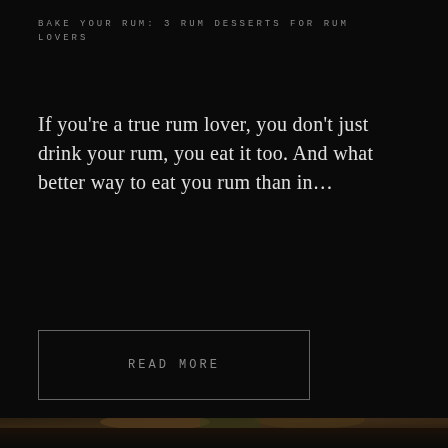BAKE YOUR RUM: 3 RUM DESSERTS FOR RUM LOVERS
If you're a true rum lover, you don't just drink your rum, you eat it too. And what better way to eat you rum than in...
READ MORE
[Figure (photo): Two shot glasses filled with amber-colored rum on a dark wooden surface with green sugarcane leaves in the background]